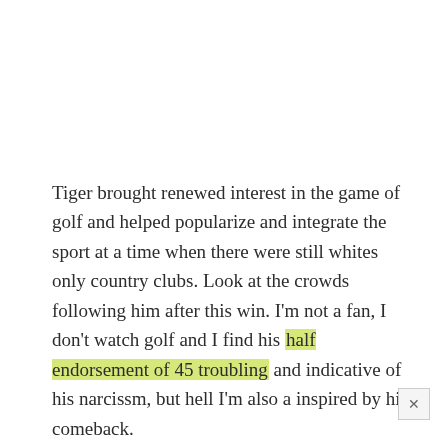Tiger brought renewed interest in the game of golf and helped popularize and integrate the sport at a time when there were still whites only country clubs. Look at the crowds following him after this win. I'm not a fan, I don't watch golf and I find his half endorsement of 45 troubling and indicative of his narcissm, but hell I'm also a inspired by his comeback.